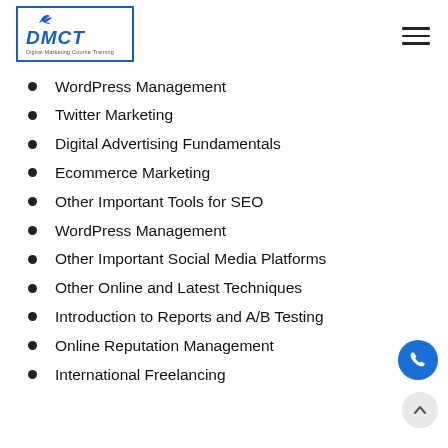DMCT Digital Marketing Course Training
WordPress Management
Twitter Marketing
Digital Advertising Fundamentals
Ecommerce Marketing
Other Important Tools for SEO
WordPress Management
Other Important Social Media Platforms
Other Online and Latest Techniques
Introduction to Reports and A/B Testing
Online Reputation Management
International Freelancing